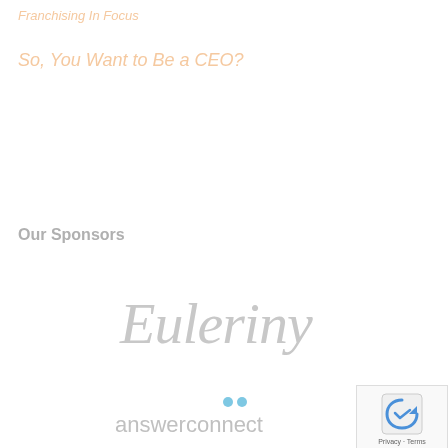Franchising In Focus
So, You Want to Be a CEO?
Our Sponsors
[Figure (logo): Euleriny logo in cursive/script style, light gray color]
[Figure (logo): answerconnect logo with two small blue dots, light gray text]